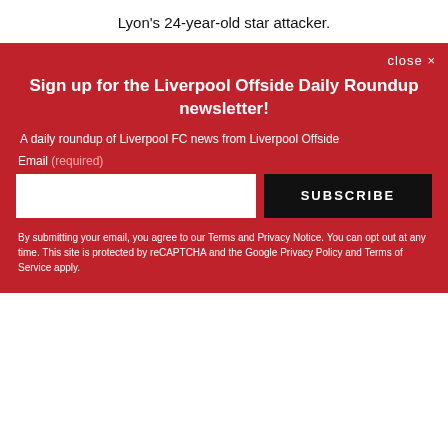Lyon's 24-year-old star attacker.
close ×
Sign up for the Liverpool Offside Daily Roundup newsletter!
A daily roundup of Liverpool FC news from Liverpool Offside
Email (required)
SUBSCRIBE
By submitting your email, you agree to our Terms and Privacy Notice. You can opt out at any time. This site is protected by reCAPTCHA and the Google Privacy Policy and Terms of Service apply.